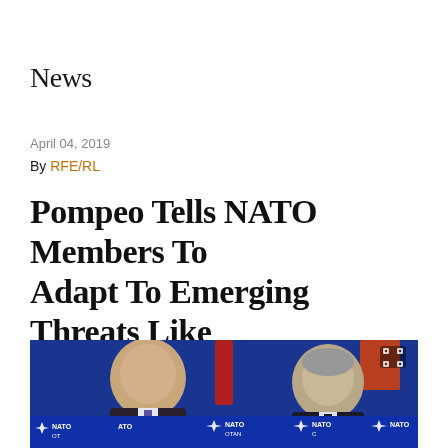News
April 04, 2019
By RFE/RL
Pompeo Tells NATO Members To Adapt To Emerging Threats Like Russia, China, Iran
[Figure (photo): Photo of two men seated at a NATO conference table with NATO OTAN signage visible in the background, one man speaking and another listening. Blue background with NATO logos.]